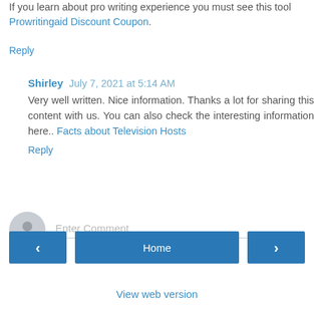If you learn about pro writing experience you must see this tool Prowritingaid Discount Coupon.
Reply
Shirley July 7, 2021 at 5:14 AM
Very well written. Nice information. Thanks a lot for sharing this content with us. You can also check the interesting information here.. Facts about Television Hosts
Reply
[Figure (other): Comment input area with avatar icon and 'Enter Comment' placeholder text with underline]
Home
View web version